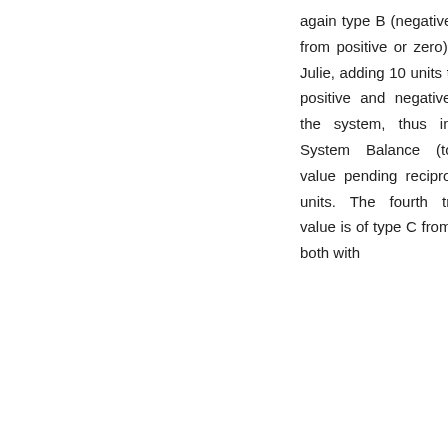again type B (negative or zero buys from positive or zero) from John to Julie, adding 10 units to the sums of positive and negative balances in the system, thus increasing the System Balance (total absolute value pending reciprocation) to 40 units. The fourth transaction of value is of type C from Julie to Mary both with